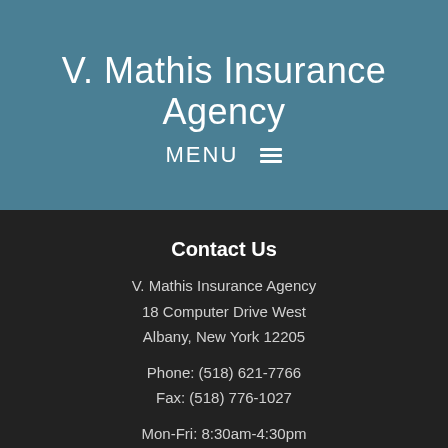V. Mathis Insurance Agency
MENU ☰
Contact Us
V. Mathis Insurance Agency
18 Computer Drive West
Albany, New York 12205
Phone: (518) 621-7766
Fax: (518) 776-1027
Mon-Fri: 8:30am-4:30pm